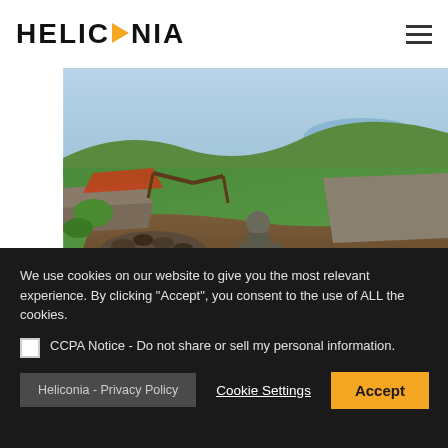HELICONIA
[Figure (photo): Outdoor scene with a person crouching among rocks and stones in a green hilly landscape, constructing or arranging a stone structure]
We embarked on an early morning departure for Sambunya
We use cookies on our website to give you the most relevant experience. By clicking "Accept", you consent to the use of ALL the cookies.
CCPA Notice - Do not share or sell my personal information.
Heliconia - Privacy Policy
Cookie Settings
Accept